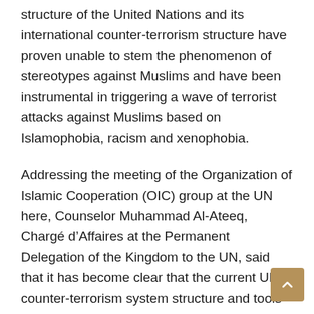structure of the United Nations and its international counter-terrorism structure have proven unable to stem the phenomenon of stereotypes against Muslims and have been instrumental in triggering a wave of terrorist attacks against Muslims based on Islamophobia, racism and xenophobia.
Addressing the meeting of the Organization of Islamic Cooperation (OIC) group at the UN here, Counselor Muhammad Al-Ateeq, Chargé d'Affaires at the Permanent Delegation of the Kingdom to the UN, said that it has become clear that the current UN counter-terrorism system structure and tools to counter it no longer keep up with evolving threats.